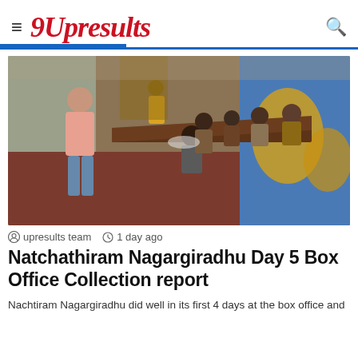9Upresults
[Figure (photo): People sitting along a long table in a corridor-like room with murals on the walls, a man in a pink shirt standing on the left.]
upresults team   1 day ago
Natchathiram Nagargiradhu Day 5 Box Office Collection report
Nachtiram Nagargiradhu did well in its first 4 days at the box office and